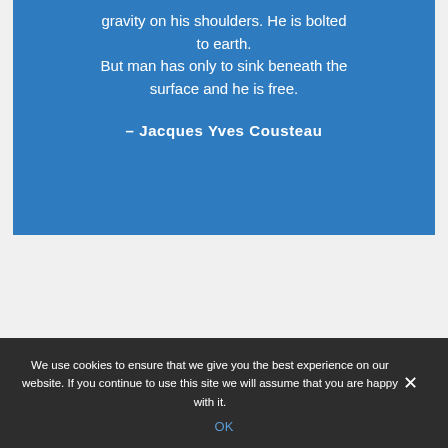gravity on his shoulders. He is bolted to earth. But man has only to sink beneath the surface and he is free.
– Jacques Yves Cousteau
CERTIFIED DIVING
We use cookies to ensure that we give you the best experience on our website. If you continue to use this site we will assume that you are happy with it.
OK